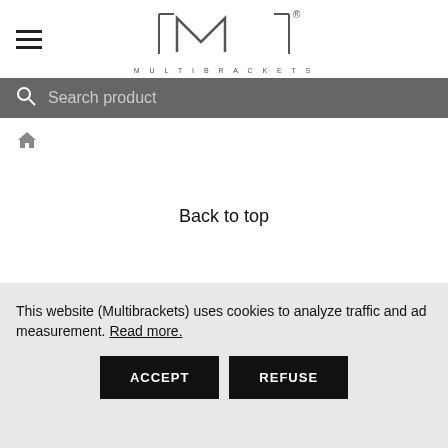[Figure (logo): Multibrackets logo — stylized M inside a rectangular bracket with registered trademark symbol and MULTIBRACKETS text below]
Search product
[Figure (other): Home icon breadcrumb]
Back to top
This website (Multibrackets) uses cookies to analyze traffic and ad measurement. Read more.
ACCEPT
REFUSE